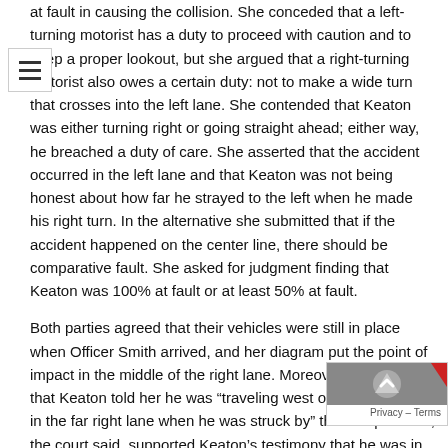at fault in causing the collision. She conceded that a left-turning motorist has a duty to proceed with caution and to keep a proper lookout, but she argued that a right-turning motorist also owes a certain duty: not to make a wide turn that crosses into the left lane. She contended that Keaton was either turning right or going straight ahead; either way, he breached a duty of care. She asserted that the accident occurred in the left lane and that Keaton was not being honest about how far he strayed to the left when he made his right turn. In the alternative she submitted that if the accident happened on the center line, there should be comparative fault. She asked for judgment finding that Keaton was 100% at fault or at least 50% at fault.

Both parties agreed that their vehicles were still in place when Officer Smith arrived, and her diagram put the point of impact in the middle of the right lane. Moreover, Smith wrote that Keaton told her he was “traveling west on Winnsboro Rd in the far right lane when he was struck by” the Intrepid. This, the court said, supported Keaton’s testimony that he was in the right lane on impact and countered Brown’s view that they were in the left lane or straddling the centerline.

The court found it significant that Brown’s own insurer, GoAut... her passengers’ personal injury claims as well as Keaton’s property
[Figure (other): Hamburger menu icon (three horizontal lines) in a white box with border, overlapping the text on the upper left.]
[Figure (other): Privacy & Terms badge overlay at the bottom right, showing a small gray image thumbnail and text 'Privacy - Terms'.]